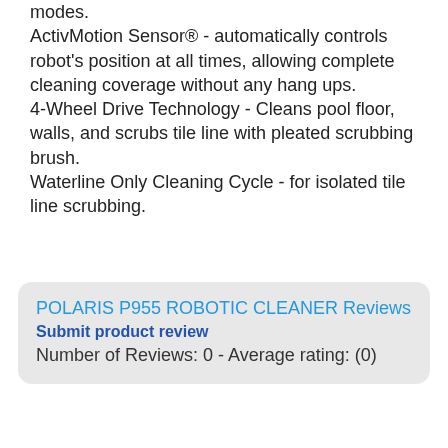modes. ActivMotion Sensor® - automatically controls robot's position at all times, allowing complete cleaning coverage without any hang ups. 4-Wheel Drive Technology - Cleans pool floor, walls, and scrubs tile line with pleated scrubbing brush. Waterline Only Cleaning Cycle - for isolated tile line scrubbing.
POLARIS P955 ROBOTIC CLEANER Reviews
Submit product review
Number of Reviews: 0 - Average rating: (0)